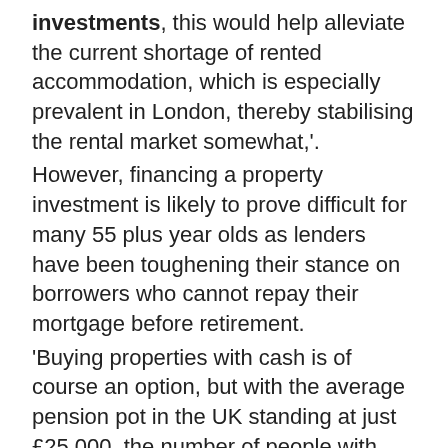investments, this would help alleviate the current shortage of rented accommodation, which is especially prevalent in London, thereby stabilising the rental market somewhat,'.
However, financing a property investment is likely to prove difficult for many 55 plus year olds as lenders have been toughening their stance on borrowers who cannot repay their mortgage before retirement.
'Buying properties with cash is of course an option, but with the average pension pot in the UK standing at just £25,000, the number of people with enough contributions to cover the cash purchase of a property will be very small, especially in London where prices are much higher,'.
'The more likely scenario is that those looking to invest in property would need to supplement their pension pots by selling their existing property and either downsizing or moving to a cheaper area. This said, many pensioners have already taken these options and dipped into their pensions to help their children and grandchildren onto the